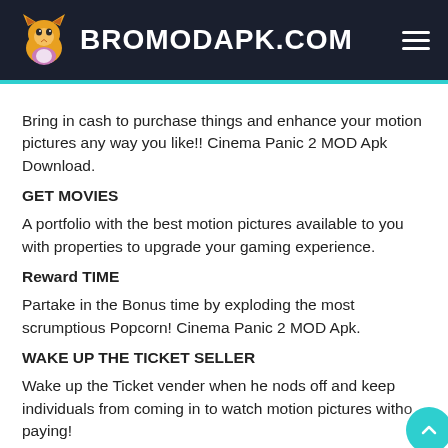BROMODAPK.COM
Bring in cash to purchase things and enhance your motion pictures any way you like!! Cinema Panic 2 MOD Apk Download.
GET MOVIES
A portfolio with the best motion pictures available to you with properties to upgrade your gaming experience.
Reward TIME
Partake in the Bonus time by exploding the most scrumptious Popcorn! Cinema Panic 2 MOD Apk.
WAKE UP THE TICKET SELLER
Wake up the Ticket vender when he nods off and keep individuals from coming in to watch motion pictures without paying!